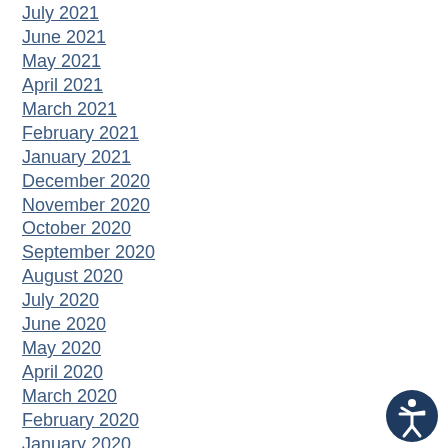July 2021
June 2021
May 2021
April 2021
March 2021
February 2021
January 2021
December 2020
November 2020
October 2020
September 2020
August 2020
July 2020
June 2020
May 2020
April 2020
March 2020
February 2020
January 2020
December 2019
November 2019
October 2019
September 2019
August 2019
[Figure (illustration): Accessibility icon: circular dark blue button with a white person figure (accessibility symbol)]